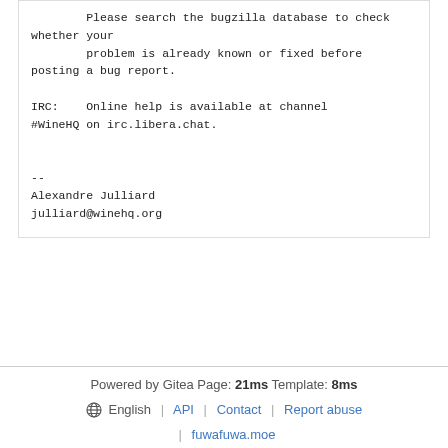Please search the bugzilla database to check whether your
        problem is already known or fixed before posting a bug report.

IRC:    Online help is available at channel #WineHQ on irc.libera.chat.

--
Alexandre Julliard
julliard@winehq.org
Powered by Gitea Page: 21ms Template: 8ms
🌐 English | API | Contact | Report abuse
| fuwafuwa.moe